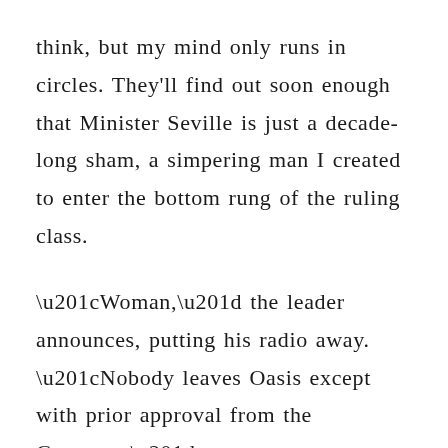think, but my mind only runs in circles. They'll find out soon enough that Minister Seville is just a decade-long sham, a simpering man I created to enter the bottom rung of the ruling class.

“Woman,” the leader announces, putting his radio away. “Nobody leaves Oasis except with prior approval from the Governor.”

“Run towards the alley when I tell you to,” whispers Maja impudently. A familiar ordering a witch around – I nod despite the flare of indignation. With overwhelming magic, Maja